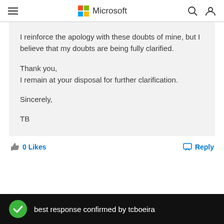Microsoft
I reinforce the apology with these doubts of mine, but I believe that my doubts are being fully clarified.

Thank you,
I remain at your disposal for further clarification.

Sincerely,

TB
0 Likes
Reply
best response confirmed by tcboeira